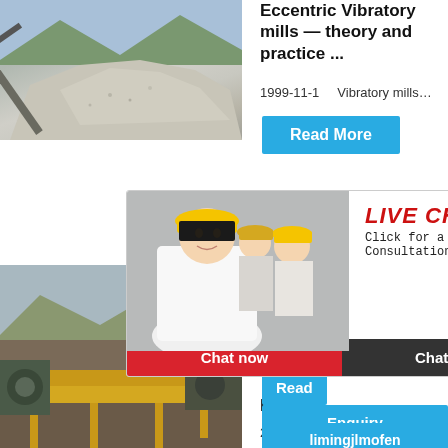[Figure (photo): Quarry stone aggregate pile with conveyor belt, mountains in background]
Eccentric Vibratory mills — theory and practice ...
1999-11-1    Vibratory mills...
Read More
[Figure (photo): Industrial mining conveyor equipment in open pit mine]
Instru...
2017-8-2...
Read
[Figure (photo): Live chat popup with workers in hard hats, Chat now and Chat later buttons]
[Figure (photo): Jaw crusher machine image in chat widget on right side, with Click me to chat>> button]
hour online
Click me to chat>>
Enquiry
limingjlmofen